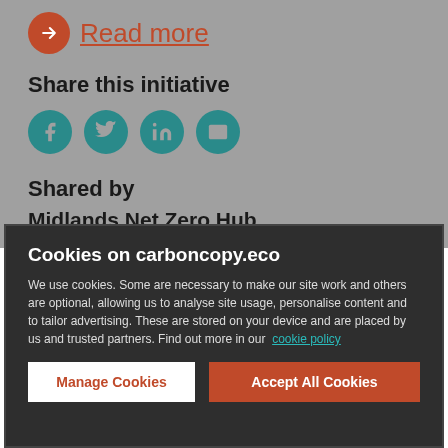Read more
Share this initiative
[Figure (infographic): Four social sharing icons: Facebook, Twitter, LinkedIn, Email — teal circles with gray symbols]
Shared by
Midlands Net Zero Hub
Cookies on carboncopy.eco
We use cookies. Some are necessary to make our site work and others are optional, allowing us to analyse site usage, personalise content and to tailor advertising. These are stored on your device and are placed by us and trusted partners. Find out more in our cookie policy
Manage Cookies
Accept All Cookies